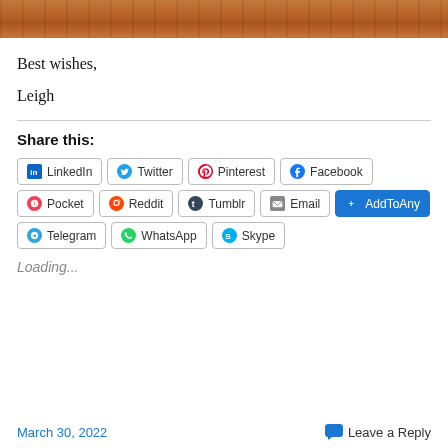[Figure (photo): Aerial or angled view of a red-dirt field or sports ground with fencing, reddish-brown tones with wooden/metal rail structure visible]
Best wishes,
Leigh
Share this:
LinkedIn
Twitter
Pinterest
Facebook
Pocket
Reddit
Tumblr
Email
AddToAny
Telegram
WhatsApp
Skype
Loading...
March 30, 2022   Leave a Reply